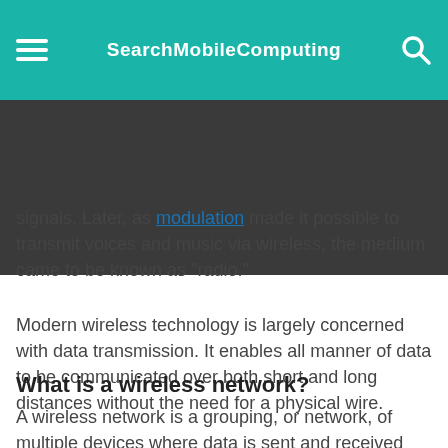SearchMobileComputing
signals. Later, as modulation made it possible to transmit voices and music via wireless, the medium came to be known as "radio."
Modern wireless technology is largely concerned with data transmission. It enables all manner of data to be communicated over both short and long distances without the need for a physical wire.
What is a wireless network?
A wireless network is a grouping, or network, of multiple devices where data is sent and received over radio frequencies.